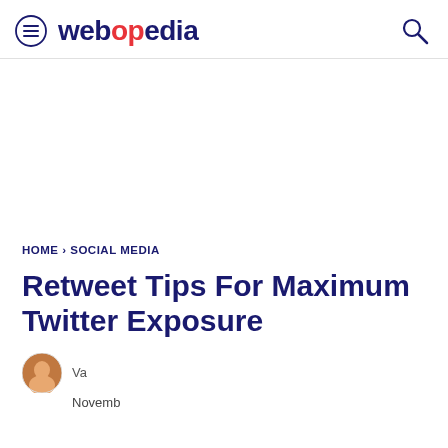webopedia
HOME › SOCIAL MEDIA
Retweet Tips For Maximum Twitter Exposure
Va
Novemb